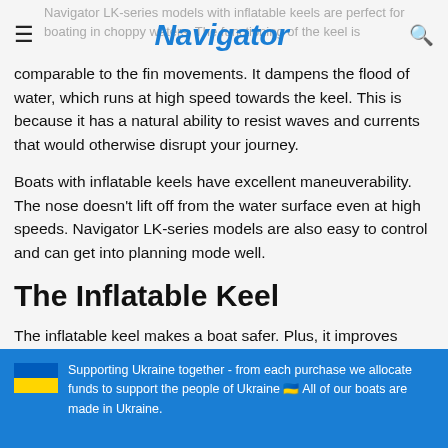Navigator
comparable to the fin movements. It dampens the flood of water, which runs at high speed towards the keel. This is because it has a natural ability to resist waves and currents that would otherwise disrupt your journey.
Boats with inflatable keels have excellent maneuverability. The nose doesn't lift off from the water surface even at high speeds. Navigator LK-series models are also easy to control and can get into planning mode well.
The Inflatable Keel
The inflatable keel makes a boat safer. Plus, it improves
Supporting Ukraine together - from each purchase we allocate funds to support the people of Ukraine 🇺🇦 All of our boats are made in Ukraine.